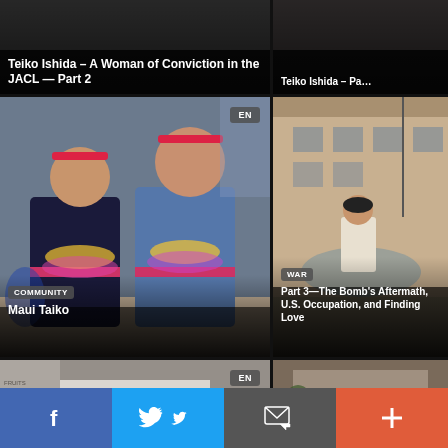[Figure (photo): Dark background card with text overlay: Teiko Ishida article part 2, top-left tile]
Teiko Ishida – A Woman of Conviction in the JACL — Part 2
[Figure (photo): Dark background card with text overlay: Teiko Ishida article partial, top-right tile]
Teiko Ishida – Pa…
[Figure (photo): Two people in traditional Hawaiian attire with leis, smiling, indoors. EN badge. Maui Taiko community article.]
COMMUNITY
Maui Taiko
[Figure (photo): Black and white vintage photo of a woman standing outside a building, sepia toned. WAR badge. Part 3 article.]
WAR
Part 3—The Bomb's Aftermath, U.S. Occupation, and Finding Love
[Figure (photo): Black and white photo showing 'I AM AN AMERICAN' sign with produce stand. EN badge. Bottom-left tile.]
[Figure (photo): Vintage photo of a building exterior. Bottom-right tile.]